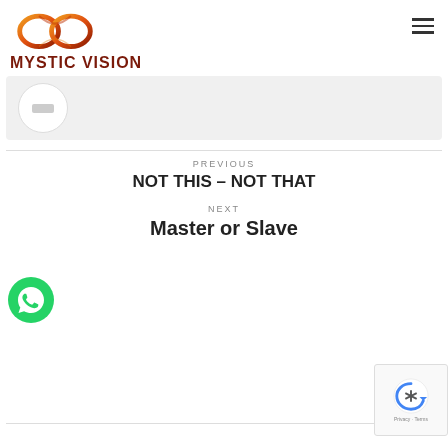[Figure (logo): Mystic Vision infinity symbol logo in orange and red]
MYSTIC VISION
[Figure (photo): Grey banner with circular avatar placeholder]
PREVIOUS
NOT THIS – NOT THAT
NEXT
Master or Slave
[Figure (logo): WhatsApp green phone icon button]
[Figure (logo): reCAPTCHA badge with Privacy and Terms text]